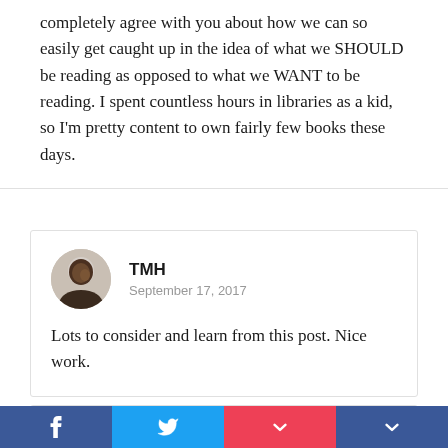completely agree with you about how we can so easily get caught up in the idea of what we SHOULD be reading as opposed to what we WANT to be reading. I spent countless hours in libraries as a kid, so I'm pretty content to own fairly few books these days.
TMH
September 17, 2017
Lots to consider and learn from this post. Nice work.